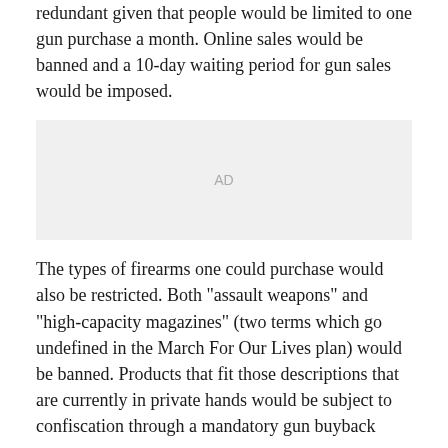redundant given that people would be limited to one gun purchase a month. Online sales would be banned and a 10-day waiting period for gun sales would be imposed.
[Figure (other): Advertisement placeholder box labeled AD]
The types of firearms one could purchase would also be restricted. Both "assault weapons" and "high-capacity magazines" (two terms which go undefined in the March For Our Lives plan) would be banned. Products that fit those descriptions that are currently in private hands would be subject to confiscation through a mandatory gun buyback program.
In addition to these direct limitations on gun ownership, the Peace plan would also beef up the federal bureaucracy's ability to go after gun owners. A new